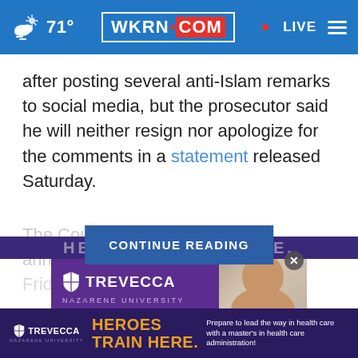71° WKRN.COM · LIVE
after posting several anti-Islam remarks to social media, but the prosecutor said he will neither resign nor apologize for the comments in a statement released Saturday.
The Council on … ns announced Friday that it … Coffee
[Figure (screenshot): CONTINUE READING button overlaid on faded article text]
[Figure (photo): Trevecca Nazarene University advertisement banner showing a smiling young man and university logo with close button]
[Figure (infographic): Trevecca Nazarene University bottom ad strip with HEROES TRAIN HERE. and health care administration description]